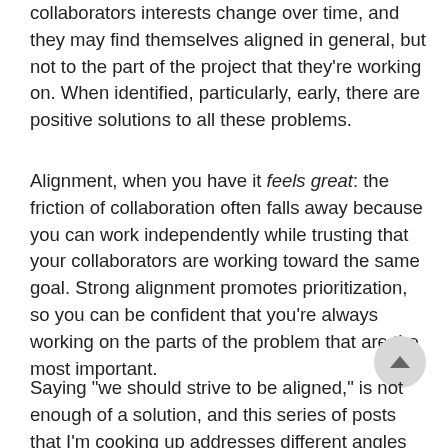collaborators interests change over time, and they may find themselves aligned in general, but not to the part of the project that they're working on. When identified, particularly, early, there are positive solutions to all these problems.
Alignment, when you have it feels great: the friction of collaboration often falls away because you can work independently while trusting that your collaborators are working toward the same goal. Strong alignment promotes prioritization, so you can be confident that you're always working on the parts of the problem that are the most important.
Saying "we should strive to be aligned," is not enough of a solution, and this series of posts that I'm cooking up addresses different angles of alignment: